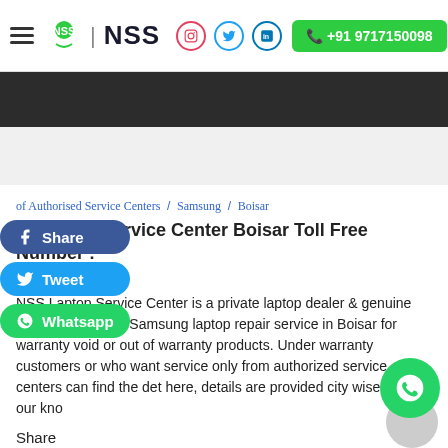NSS | +91 9717150098
of Authorised Service Centers / Samsung / Boisar
Samsung Service Center Boisar Toll Free Number : 7-267-864
NSS Laptop Service Center is a private laptop dealer & genuine parts. We provide Samsung laptop repair service in Boisar for warranty void or out of warranty products. Under warranty customers or who want service only from authorized service centers can find the details here, details are provided city wise best of our knowledge.
Share
[Figure (other): Social share buttons: Facebook, Twitter, LinkedIn, Pinterest, Skype]